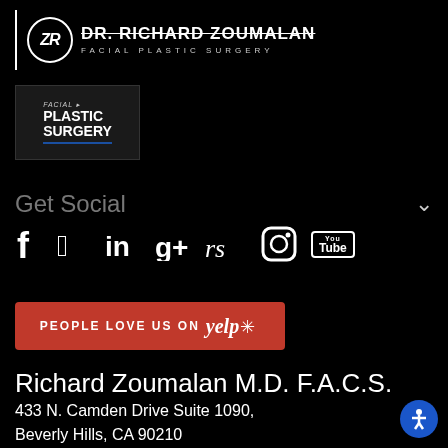[Figure (logo): Dr. Richard Zoumalan Facial Plastic Surgery logo with circle ZR emblem, vertical divider line, doctor name with strikethrough decoration, and subtitle 'FACIAL PLASTIC SURGERY']
[Figure (logo): Facial Plastic Surgery journal/organization logo with text 'FACIAL PLASTIC SURGERY' in bold white on dark background with blue underline]
Get Social
[Figure (infographic): Social media icons row: Facebook (f), Twitter (bird), LinkedIn (in), Google+ (g+), RealSelf (rs), Instagram (camera), YouTube (You Tube box)]
[Figure (logo): Yelp badge: red button with text 'PEOPLE LOVE US ON yelp*']
Richard Zoumalan M.D. F.A.C.S.
433 N. Camden Drive Suite 1090,
Beverly Hills, CA 90210